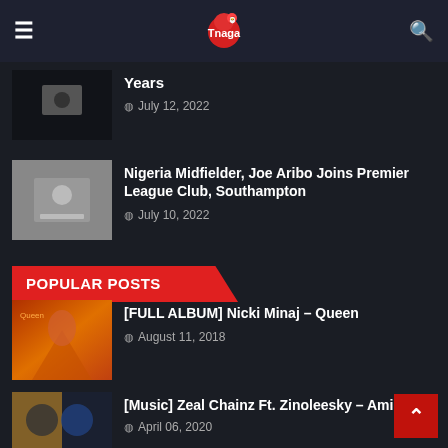Thenaga (logo) — navigation header
Years — July 12, 2022
Nigeria Midfielder, Joe Aribo Joins Premier League Club, Southampton — July 10, 2022
POPULAR POSTS
[FULL ALBUM] Nicki Minaj – Queen — August 11, 2018
[Music] Zeal Chainz Ft. Zinoleesky – Amin — April 06, 2020